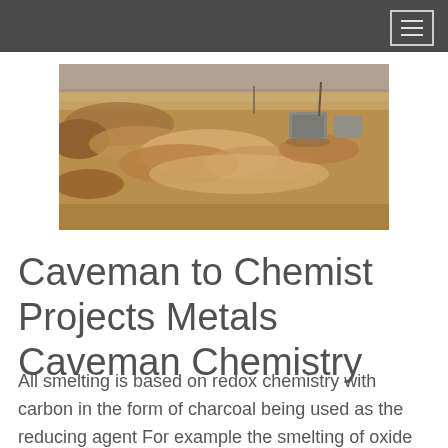[Figure (photo): Outdoor photograph showing a dry, brown landscape with disturbed earth, small mounds of dirt, and concrete or stone blocks in the background. Dry grass and arid soil visible.]
Caveman to Chemist Projects Metals Caveman Chemistry
All smelting is based on redox chemistry with carbon in the form of charcoal being used as the reducing agent For example the smelting of oxide ores takes the …